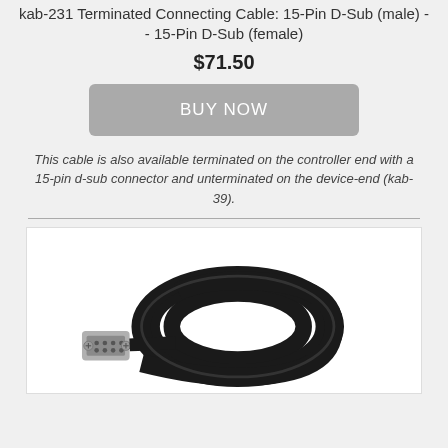kab-231 Terminated Connecting Cable: 15-Pin D-Sub (male) -- 15-Pin D-Sub (female)
$71.50
BUY NOW
This cable is also available terminated on the controller end with a 15-pin d-sub connector and unterminated on the device-end (kab-39).
[Figure (photo): Photo of a black coiled cable with a 15-pin D-Sub connector on one end]